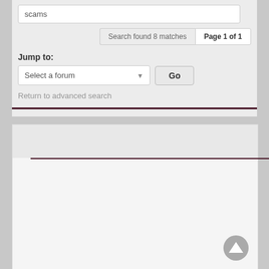scams
Search found 8 matches   Page 1 of 1
Jump to:
Select a forum
Go
Return to advanced search
[Figure (screenshot): Forum search interface screenshot showing a search result page with 'scams' in the search box, 8 matches found on page 1 of 1, a Jump to forum dropdown, Go button, and Return to advanced search link. Below is a content area with a dark horizontal divider and a scroll-to-top arrow button.]